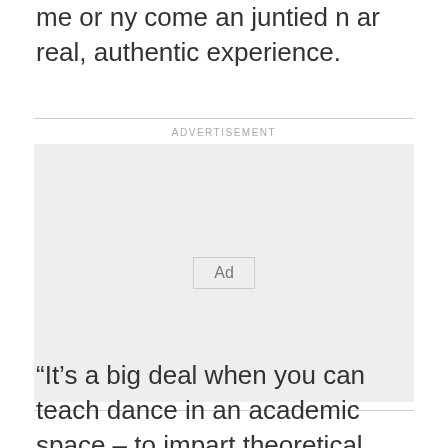me or ny come an juntied n ar real, authentic experience.
[Figure (other): Advertisement placeholder box with 'ADVERTISEMENT' label above and 'Ad' button centered in a gray box]
“It’s a big deal when you can teach dance in an academic space – to impart theoretical knowledge to all age groups – online has